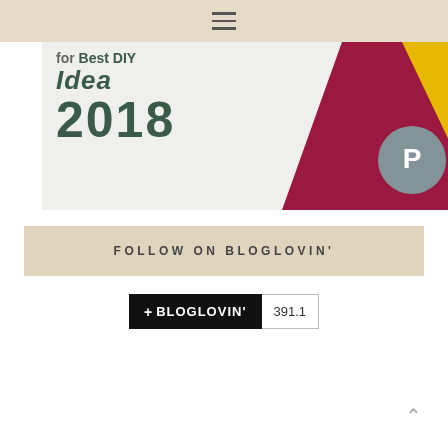[Figure (screenshot): Blog page screenshot showing a DIY award badge for 2018 with diagonal colored stripes (crimson and yellow) and a Pinterest icon on a light background. Text reads 'for Best DIY Idea 2018'.]
FOLLOW ON BLOGLOVIN'
[Figure (screenshot): Bloglovin follow button with black background showing '+ BLOGLOVIN'' text and a count badge showing '391.1']